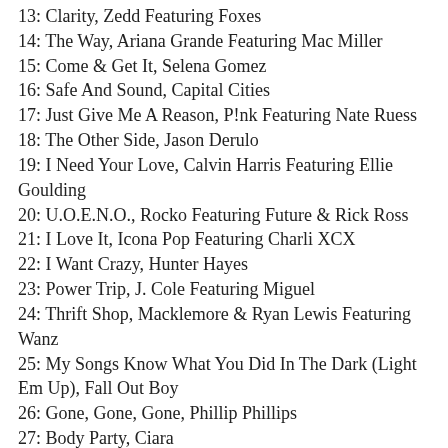13: Clarity, Zedd Featuring Foxes
14: The Way, Ariana Grande Featuring Mac Miller
15: Come & Get It, Selena Gomez
16: Safe And Sound, Capital Cities
17: Just Give Me A Reason, P!nk Featuring Nate Ruess
18: The Other Side, Jason Derulo
19: I Need Your Love, Calvin Harris Featuring Ellie Goulding
20: U.O.E.N.O., Rocko Featuring Future & Rick Ross
21: I Love It, Icona Pop Featuring Charli XCX
22: I Want Crazy, Hunter Hayes
23: Power Trip, J. Cole Featuring Miguel
24: Thrift Shop, Macklemore & Ryan Lewis Featuring Wanz
25: My Songs Know What You Did In The Dark (Light Em Up), Fall Out Boy
26: Gone, Gone, Gone, Phillip Phillips
27: Body Party, Ciara